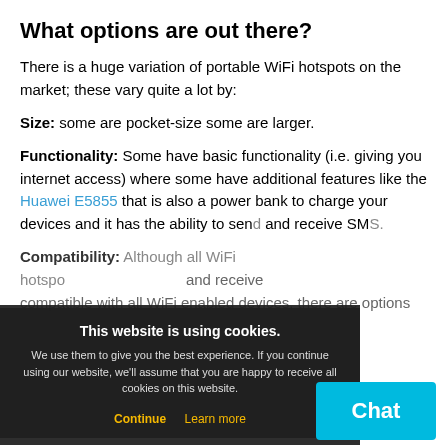What options are out there?
There is a huge variation of portable WiFi hotspots on the market; these vary quite a lot by:
Size: some are pocket-size some are larger.
Functionality: Some have basic functionality (i.e. giving you internet access) where some have additional features like the Huawei E5855 that is also a power bank to charge your devices and it has the ability to send and receive SMS.
Compatibility: Although all WiFi hotspo... compatible with all WiFi enabled devices, there are options